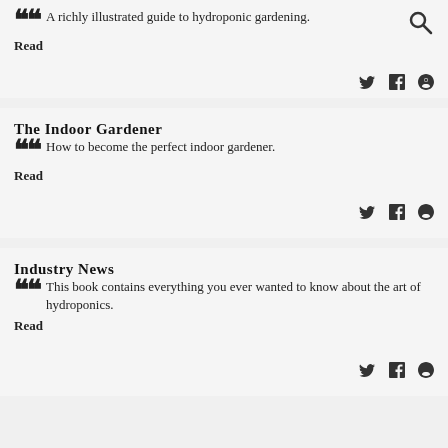A richly illustrated guide to hydroponic gardening.
Read
The Indoor Gardener
How to become the perfect indoor gardener.
Read
Industry News
This book contains everything you ever wanted to know about the art of hydroponics.
Read